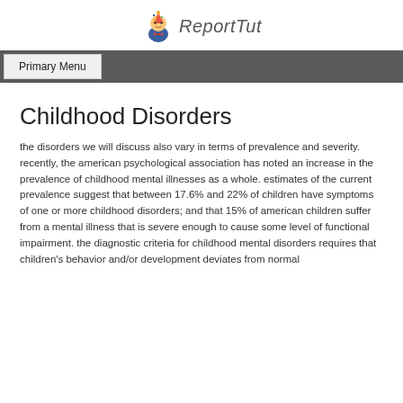ReportTut
Primary Menu
Childhood Disorders
the disorders we will discuss also vary in terms of prevalence and severity. recently, the american psychological association has noted an increase in the prevalence of childhood mental illnesses as a whole. estimates of the current prevalence suggest that between 17.6% and 22% of children have symptoms of one or more childhood disorders; and that 15% of american children suffer from a mental illness that is severe enough to cause some level of functional impairment. the diagnostic criteria for childhood mental disorders requires that children's behavior and/or development deviates from normal